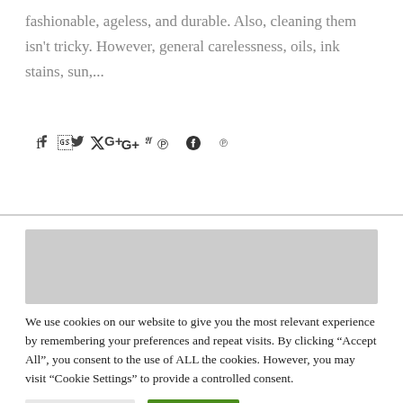fashionable, ageless, and durable. Also, cleaning them isn't tricky. However, general carelessness, oils, ink stains, sun,...
[Figure (other): Social sharing icons: Facebook (f), Twitter (bird), Google+ (G+), Pinterest (P)]
[Figure (other): Gray placeholder advertisement/image box]
We use cookies on our website to give you the most relevant experience by remembering your preferences and repeat visits. By clicking "Accept All", you consent to the use of ALL the cookies. However, you may visit "Cookie Settings" to provide a controlled consent.
Cookie Settings    Accept All